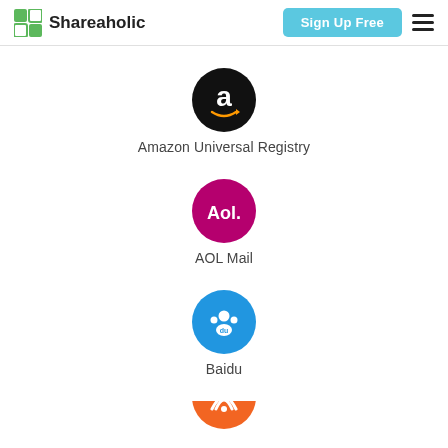Shareaholic | Sign Up Free
[Figure (logo): Amazon Universal Registry icon - black circle with white Amazon 'a' logo and smile arrow]
Amazon Universal Registry
[Figure (logo): AOL Mail icon - magenta/crimson circle with white 'Aol.' text]
AOL Mail
[Figure (logo): Baidu icon - blue circle with white paw print and 'du' text]
Baidu
[Figure (logo): Partially visible orange circle icon at bottom of page]